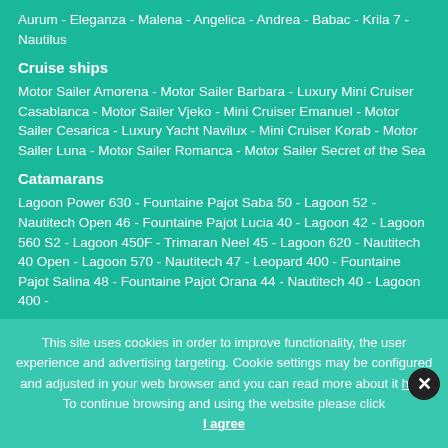Aurum - Eleganza - Malena - Angelica - Andrea - Babac - Krila 7 - Nautilus
Cruise ships
Motor Sailer Amorena - Motor Sailer Barbara - Luxury Mini Cruiser Casablanca - Motor Sailer Vjeko - Mini Cruiser Emanuel - Motor Sailer Cesarica - Luxury Yacht Navilux - Mini Cruiser Korab - Motor Sailer Luna - Motor Sailer Romanca - Motor Sailer Secret of the Sea
Catamarans
Lagoon Power 630 - Fountaine Pajot Saba 50 - Lagoon 52 - Nautitech Open 46 - Fountaine Pajot Lucia 40 - Lagoon 42 - Lagoon 560 S2 - Lagoon 450F - Trimaran Neel 45 - Lagoon 620 - Nautitech 40 Open - Lagoon 570 - Nautitech 47 - Leopard 400 - Fountaine Pajot Salina 48 - Fountaine Pajot Orana 44 - Nautitech 40 - Lagoon 400 -
This site uses cookies in order to improve functionality, the user experience and advertising targeting. Cookie settings may be configured and adjusted in your web browser and you can read more about it here. To continue browsing and using the website please click I agree